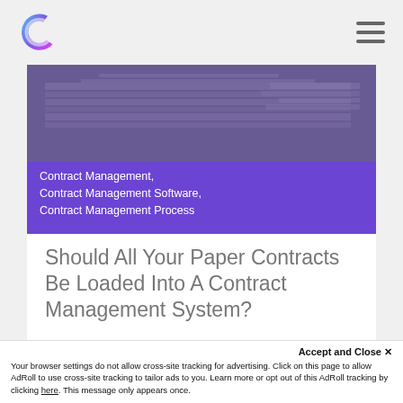[Figure (logo): Blue/purple stylized C letter logo for contract management software company]
[Figure (photo): Hero banner image showing stacked paper contracts/documents in purple-tinted monochrome with purple overlay banner text reading: Contract Management, Contract Management Software, Contract Management Process]
Should All Your Paper Contracts Be Loaded Into A Contract Management System?
READ MORE
Accept and Close ✕
Your browser settings do not allow cross-site tracking for advertising. Click on this page to allow AdRoll to use cross-site tracking to tailor ads to you. Learn more or opt out of this AdRoll tracking by clicking here. This message only appears once.